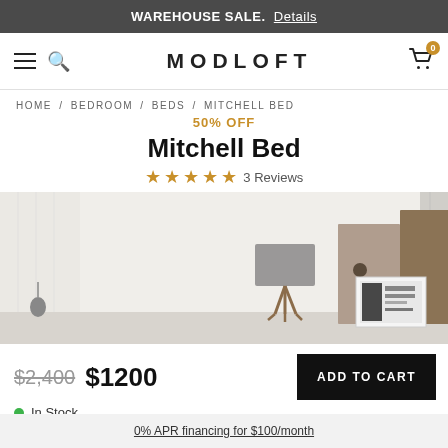WAREHOUSE SALE. Details
MODLOFT
HOME / BEDROOM / BEDS / MITCHELL BED
50% OFF
Mitchell Bed
★★★★★ 3 Reviews
[Figure (photo): Bedroom product photo showing a minimalist white room with a lamp on a tripod stand, two decorative boxes/objects (taupe and brown), and a black and white artwork on the right against sheer white curtains.]
$2,400  $1200
In Stock
ADD TO CART
0% APR financing for $100/month